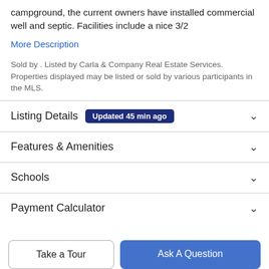campground, the current owners have installed commercial well and septic. Facilities include a nice 3/2
More Description
Sold by . Listed by Carla & Company Real Estate Services. Properties displayed may be listed or sold by various participants in the MLS.
Listing Details  Updated 45 min ago
Features & Amenities
Schools
Payment Calculator
Take a Tour
Ask A Question